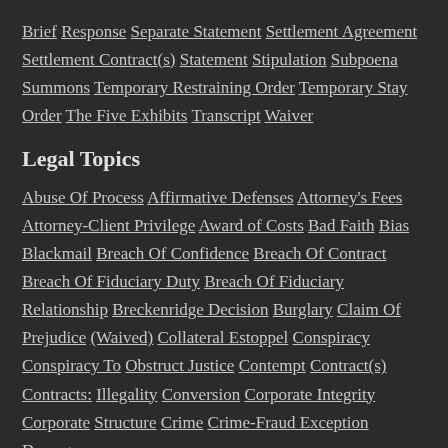Brief Response Separate Statement Settlement Agreement Settlement Contract(s) Statement Stipulation Subpoena Summons Temporary Restraining Order Temporary Stay Order The Five Exhibits Transcript Waiver
Legal Topics
Abuse Of Process Affirmative Defenses Attorney's Fees Attorney-Client Privilege Award of Costs Bad Faith Bias Blackmail Breach Of Confidence Breach Of Contract Breach Of Fiduciary Duty Breach Of Fiduciary Relationship Breckenridge Decision Burglary Claim Of Prejudice (Waived) Collateral Estoppel Conspiracy Conspiracy To Obstruct Justice Contempt Contract(s) Contracts: Illegality Conversion Corporate Integrity Corporate Structure Crime Crime-Fraud Exception Damages